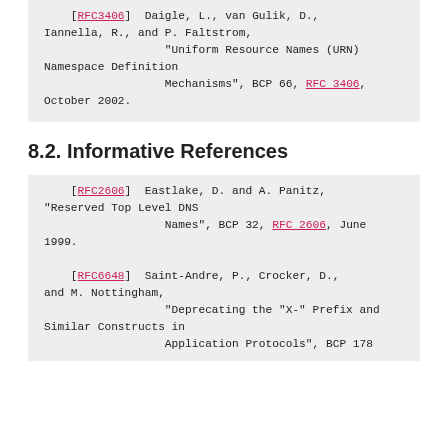[RFC3406] Daigle, L., van Gulik, D., Iannella, R., and P. Faltstrom, "Uniform Resource Names (URN) Namespace Definition Mechanisms", BCP 66, RFC 3406, October 2002.
8.2. Informative References
[RFC2606] Eastlake, D. and A. Panitz, "Reserved Top Level DNS Names", BCP 32, RFC 2606, June 1999.
[RFC6648] Saint-Andre, P., Crocker, D., and M. Nottingham, "Deprecating the "X-" Prefix and Similar Constructs in Application Protocols", BCP 178...